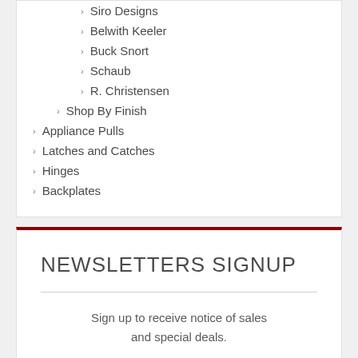Siro Designs
Belwith Keeler
Buck Snort
Schaub
R. Christensen
Shop By Finish
Appliance Pulls
Latches and Catches
Hinges
Backplates
NEWSLETTERS SIGNUP
Sign up to receive notice of sales and special deals.